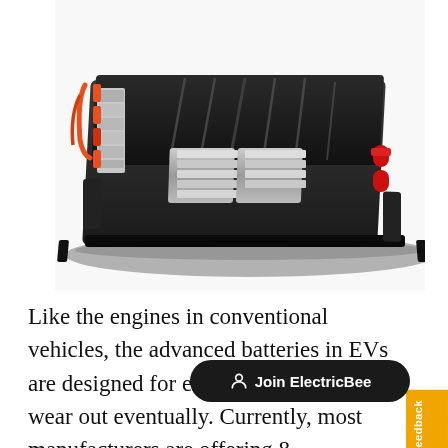[Figure (photo): Electric vehicle (EV) battery pack — a large rectangular black housing with silver battery cell modules visible on the left side with orange/red high-voltage connectors, silver rectangular battery modules in the center, and a black plastic cover with angular ridges on the right. Red terminal connectors visible on the right side.]
Like the engines in conventional vehicles, the advanced batteries in EVs are designed for extended life but will wear out eventually. Currently, most manufacturers are offering 8-year/100,000-mile warranties for their batteries. Nissan is provi[ding] battery capacity loss coverage for 5 years or 60,000 miles. Manufacturers also...